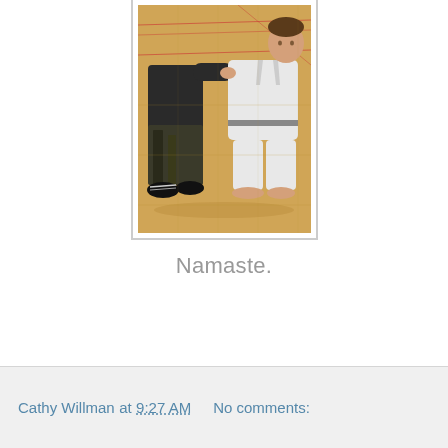[Figure (photo): A child in a white martial arts uniform bowing or kneeling on a gym floor, shaking hands with an adult in dark clothing. Wooden gym floor with colored lines visible in background.]
Namaste.
Cathy Willman at 9:27 AM   No comments: